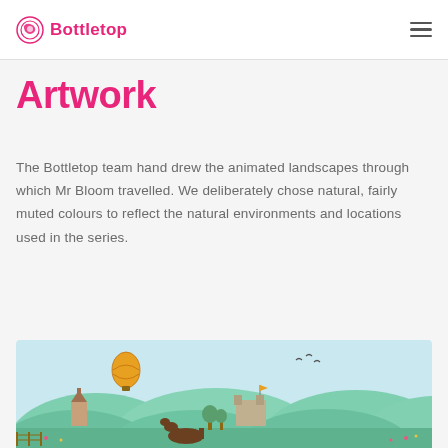Bottletop
Artwork
The Bottletop team hand drew the animated landscapes through which Mr Bloom travelled. We deliberately chose natural, fairly muted colours to reflect the natural environments and locations used in the series.
[Figure (illustration): Illustrated animated landscape scene showing rolling green hills, a church, a castle with a flag, a hot air balloon, birds, and a horse in the foreground under a light blue sky.]